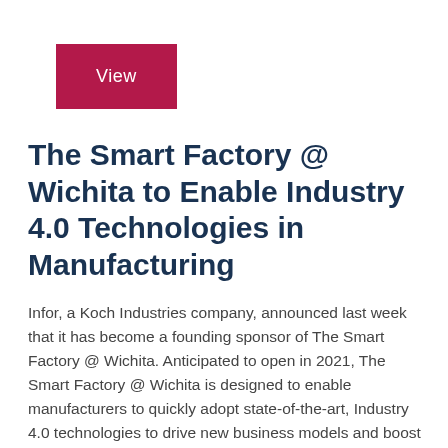[Figure (other): A crimson/dark-red rectangular button with white text reading 'View']
The Smart Factory @ Wichita to Enable Industry 4.0 Technologies in Manufacturing
Infor, a Koch Industries company, announced last week that it has become a founding sponsor of The Smart Factory @ Wichita. Anticipated to open in 2021, The Smart Factory @ Wichita is designed to enable manufacturers to quickly adopt state-of-the-art, Industry 4.0 technologies to drive new business models and boost quality, productivity, and sustainability. The Smart Factory [...]